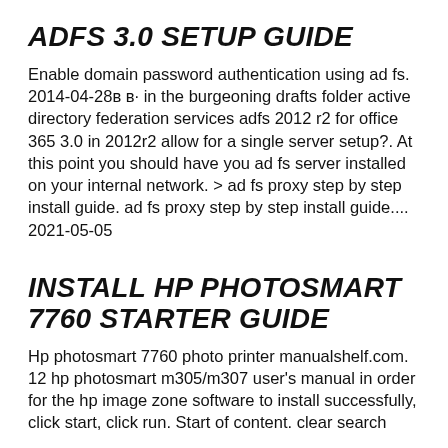ADFS 3.0 SETUP GUIDE
Enable domain password authentication using ad fs. 2014-04-28в в· in the burgeoning drafts folder active directory federation services adfs 2012 r2 for office 365 3.0 in 2012r2 allow for a single server setup?. At this point you should have you ad fs server installed on your internal network. > ad fs proxy step by step install guide. ad fs proxy step by step install guide.... 2021-05-05
INSTALL HP PHOTOSMART 7760 STARTER GUIDE
Hp photosmart 7760 photo printer manualshelf.com. 12 hp photosmart m305/m307 user's manual in order for the hp image zone software to install successfully, click start, click run. Start of content. clear search